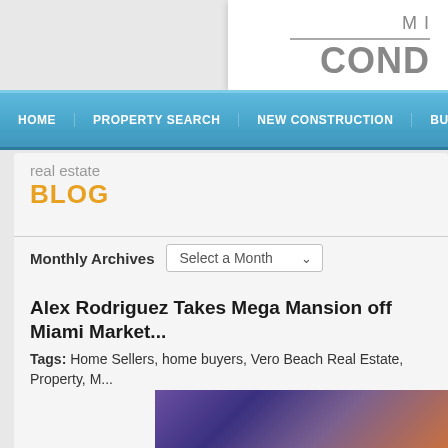[Figure (logo): Partial website logo showing 'M...' and 'COND...' in gray bold text with horizontal rule]
HOME   PROPERTY SEARCH   NEW CONSTRUCTION   BU...
real estate
BLOG
Monthly Archives   Select a Month
Alex Rodriguez Takes Mega Mansion off Miami Market...
Tags:   Home Sellers, home buyers, Vero Beach Real Estate, Property, M...
[Figure (photo): Partial photo of Miami property/mansion, dark purple and orange toned image, cropped at bottom of page]